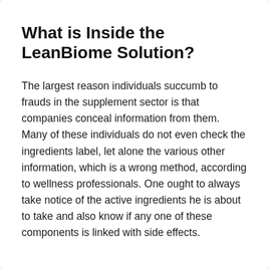What is Inside the LeanBiome Solution?
The largest reason individuals succumb to frauds in the supplement sector is that companies conceal information from them. Many of these individuals do not even check the ingredients label, let alone the various other information, which is a wrong method, according to wellness professionals. One ought to always take notice of the active ingredients he is about to take and also know if any one of these components is linked with side effects.